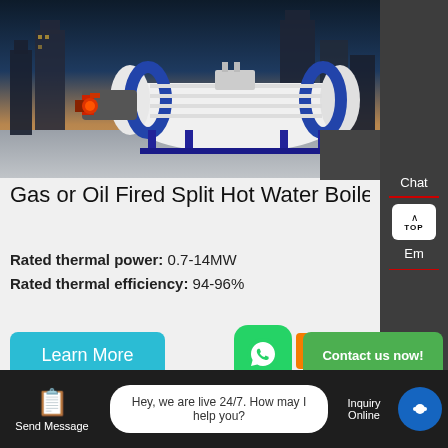[Figure (photo): Gas or oil fired split hot water boiler product photo showing a large horizontal white cylindrical boiler with blue frame, red burner attachment, set against a city skyline background at dusk.]
Gas or Oil Fired Split Hot Water Boile
Rated thermal power: 0.7-14MW
Rated thermal efficiency: 94-96%
Learn More
Contact us now!
Chat
Em
Contact
Send Message
Hey, we are live 24/7. How may I help you?
Inquiry Online